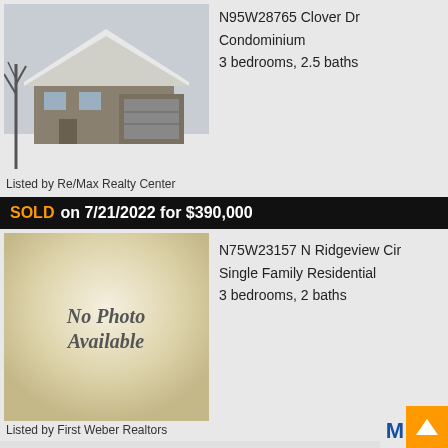[Figure (photo): Snow-covered house with tan/brown siding and attached garage, winter scene with bare trees]
N95W28765 Clover Dr
Condominium
3 bedrooms, 2.5 baths
Listed by Re/Max Realty Center
SOLD on 7/21/2022 for $390,000
[Figure (photo): No Photo Available placeholder image with beige/cream gradient background]
N75W23157 N Ridgeview Cir
Single Family Residential
3 bedrooms, 2 baths
Listed by First Weber Realtors